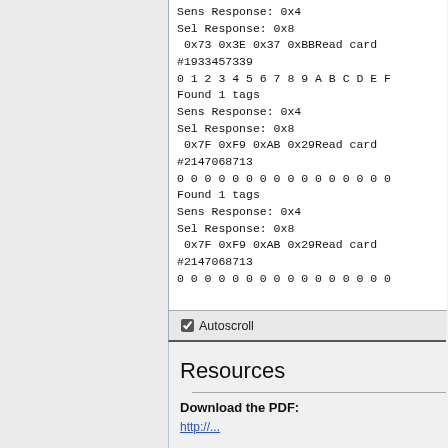[Figure (screenshot): Serial console/terminal output box showing RFID card read responses including Sens Response, Sel Response, hex data, card numbers, and tag counts. Contains an Autoscroll checkbox at the bottom.]
Resources
Download the PDF:
http://...